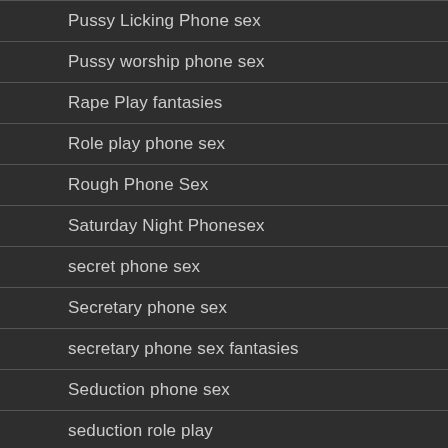Pussy Licking Phone sex
Pussy worship phone sex
Rape Play fantasies
Role play phone sex
Rough Phone Sex
Saturday Night Phonesex
secret phone sex
Secretary phone sex
secretary phone sex fantasies
Seduction phone sex
seduction role play